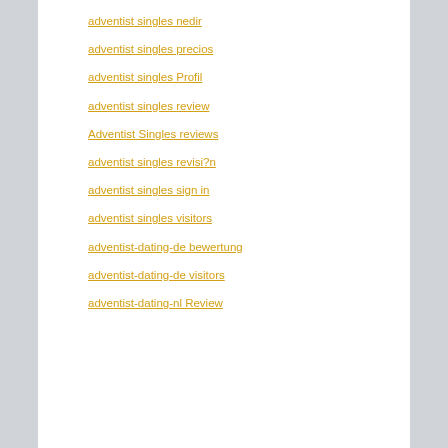adventist singles nedir
adventist singles precios
adventist singles Profil
adventist singles review
Adventist Singles reviews
adventist singles revisi?n
adventist singles sign in
adventist singles visitors
adventist-dating-de bewertung
adventist-dating-de visitors
adventist-dating-nl Review